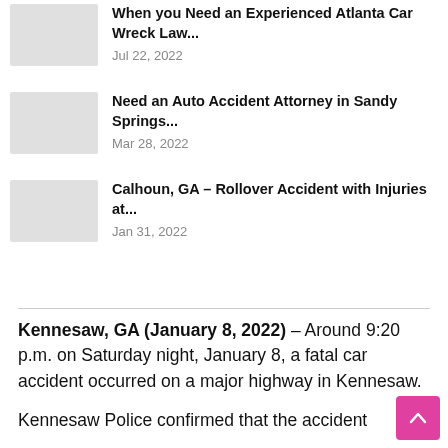When you Need an Experienced Atlanta Car Wreck Law... Jul 22, 2022
Need an Auto Accident Attorney in Sandy Springs... Mar 28, 2022
Calhoun, GA – Rollover Accident with Injuries at... Jan 31, 2022
Kennesaw, GA (January 8, 2022) – Around 9:20 p.m. on Saturday night, January 8, a fatal car accident occurred on a major highway in Kennesaw.
Kennesaw Police confirmed that the accident